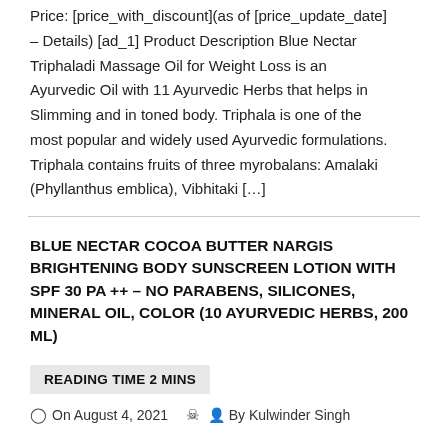Price: [price_with_discount](as of [price_update_date] – Details) [ad_1] Product Description Blue Nectar Triphaladi Massage Oil for Weight Loss is an Ayurvedic Oil with 11 Ayurvedic Herbs that helps in Slimming and in toned body. Triphala is one of the most popular and widely used Ayurvedic formulations. Triphala contains fruits of three myrobalans: Amalaki (Phyllanthus emblica), Vibhitaki […]
BLUE NECTAR COCOA BUTTER NARGIS BRIGHTENING BODY SUNSCREEN LOTION WITH SPF 30 PA ++ – NO PARABENS, SILICONES, MINERAL OIL, COLOR (10 AYURVEDIC HERBS, 200 ML)
READING TIME 2 MINS
On August 4, 2021   By Kulwinder Singh